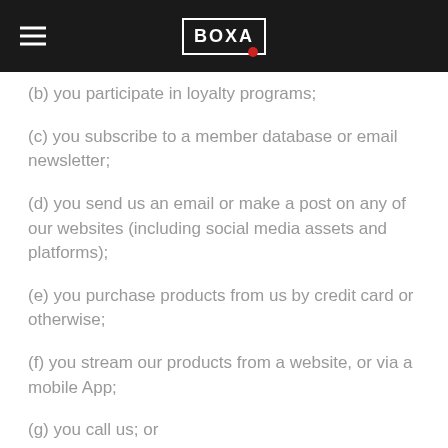BOXA
(b) you participate in loyalty programs;
(c) you subscribe to a member database or email newsletter;
(d) you send us an email or make a post on any of our websites (including social media assets and platforms);
(e) you purchase products from us by credit card or otherwise;
(f) you stream our products from a website, or via a mobile App;
(g) you call us; or